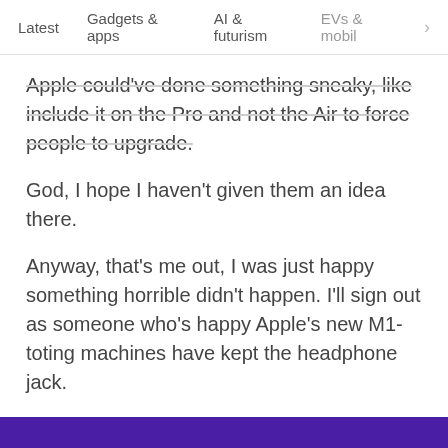Latest   Gadgets & apps   AI & futurism   EVs & mobil  >
Apple could've done something sneaky, like include it on the Pro and not the Air to force people to upgrade.
God, I hope I haven't given them an idea there.
Anyway, that's me out, I was just happy something horrible didn't happen. I'll sign out as someone who's happy Apple's new M1-toting machines have kept the headphone jack.
Get the Plugged newsletter
Subscribe to our snarky newsletter all about consumer tech.